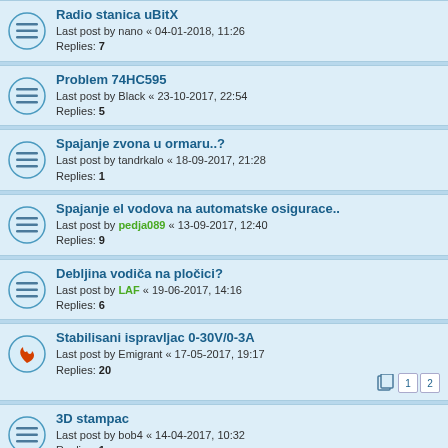Radio stanica uBitX
Last post by nano « 04-01-2018, 11:26
Replies: 7
Problem 74HC595
Last post by Black « 23-10-2017, 22:54
Replies: 5
Spajanje zvona u ormaru..?
Last post by tandrkalo « 18-09-2017, 21:28
Replies: 1
Spajanje el vodova na automatske osigurace..
Last post by pedja089 « 13-09-2017, 12:40
Replies: 9
Debljina vodiča na pločici?
Last post by LAF « 19-06-2017, 14:16
Replies: 6
Stabilisani ispravljac 0-30V/0-3A
Last post by Emigrant « 17-05-2017, 19:17
Replies: 20
3D stampac
Last post by bob4 « 14-04-2017, 10:32
Replies: 1
Boost up DC/DC i CDI sistem paljenja
Last post by Black « 10-04-2017, 16:54
Replies: 166
Arduino kontrola dc motora sa mosfetom
Last post by pedja089 « 18-02-2017, 00:39